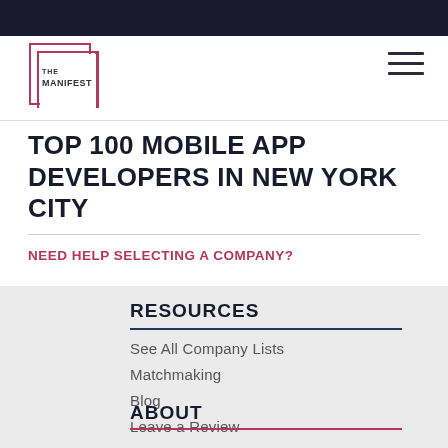THE MANIFEST
TOP 100 MOBILE APP DEVELOPERS IN NEW YORK CITY
NEED HELP SELECTING A COMPANY?
RESOURCES
See All Company Lists
Matchmaking
Blog
Leave a Review
ABOUT